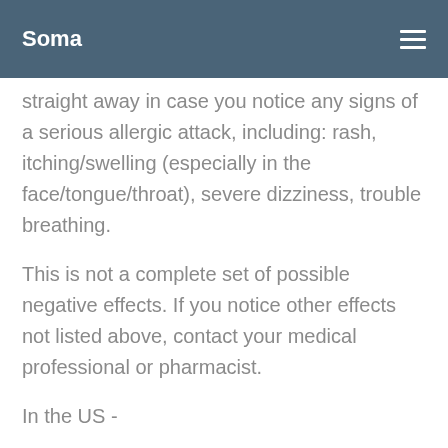Soma
straight away in case you notice any signs of a serious allergic attack, including: rash, itching/swelling (especially in the face/tongue/throat), severe dizziness, trouble breathing.
This is not a complete set of possible negative effects. If you notice other effects not listed above, contact your medical professional or pharmacist.
In the US -